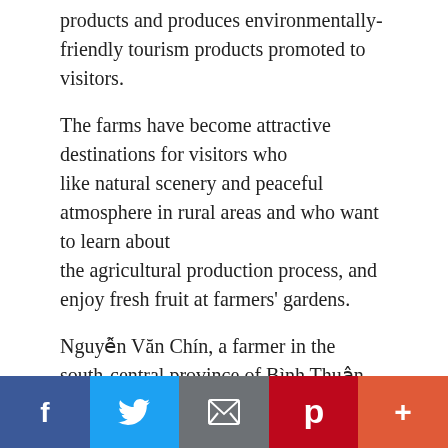products and produces environmentally-friendly tourism products promoted to visitors.
The farms have become attractive destinations for visitors who like natural scenery and peaceful atmosphere in rural areas and who want to learn about the agricultural production process, and enjoy fresh fruit at farmers' gardens.
Nguyễn Văn Chín, a farmer in the south-central province of Bình Thuận, has 1,700 pillars of dragon fruit grown to VietGAP standards in Hàm Thuận Nam District's Hàm Mỹ Commune.